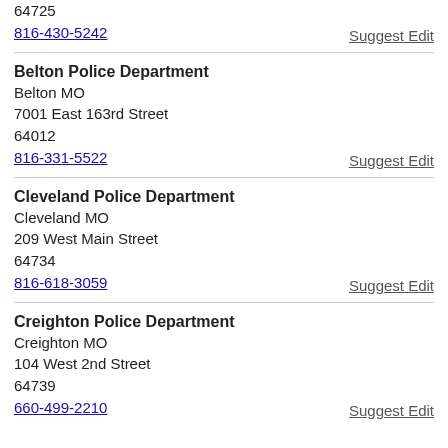64725
816-430-5242
Suggest Edit
Belton Police Department
Belton MO
7001 East 163rd Street
64012
816-331-5522
Suggest Edit
Cleveland Police Department
Cleveland MO
209 West Main Street
64734
816-618-3059
Suggest Edit
Creighton Police Department
Creighton MO
104 West 2nd Street
64739
660-499-2210
Suggest Edit